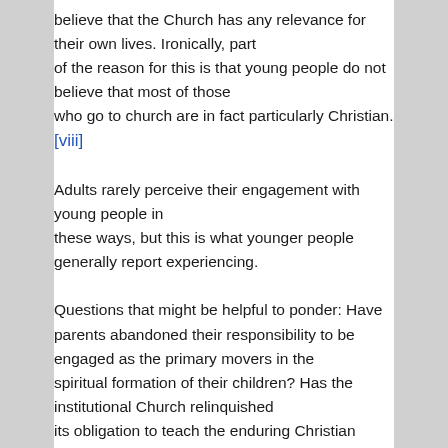believe that the Church has any relevance for their own lives. Ironically, part of the reason for this is that young people do not believe that most of those who go to church are in fact particularly Christian.[viii]
Adults rarely perceive their engagement with young people in these ways, but this is what younger people generally report experiencing.
Questions that might be helpful to ponder: Have parents abandoned their responsibility to be engaged as the primary movers in the spiritual formation of their children? Has the institutional Church relinquished its obligation to teach the enduring Christian Faith handed down from generation to generation? Has the institutional Church itself been overwhelmed and usurped by prevailing culture?  Why